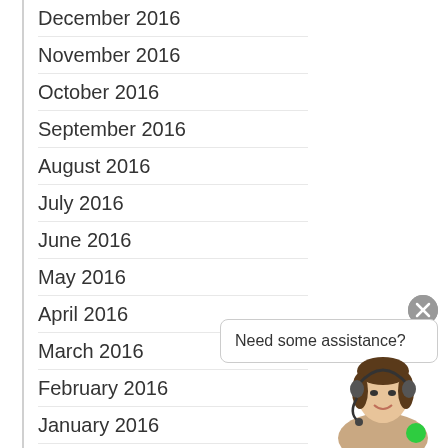December 2016
November 2016
October 2016
September 2016
August 2016
July 2016
June 2016
May 2016
April 2016
March 2016
February 2016
January 2016
December 2015
November 2015
October 2015
September 2015
[Figure (illustration): Chat widget with close button, speech bubble saying 'Need some assistance?', and a female customer service avatar with headset and green online indicator dot.]